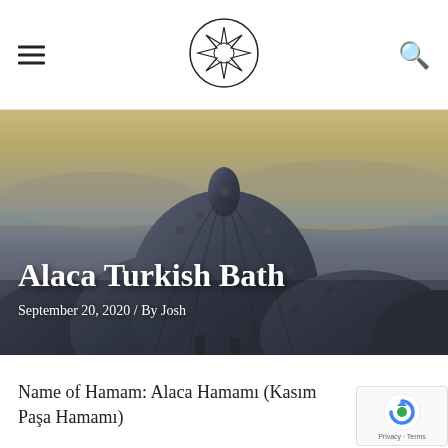[hamburger menu] [ornamental logo] [search icon]
[Figure (photo): Aerial view of domed Ottoman hamam rooftops with ornamental knobs against a hazy cityscape and body of water in the background at dusk/golden hour]
Alaca Turkish Bath
September 20, 2020 / By Josh
Name of Hamam: Alaca Hamamı (Kasım Paşa Hamamı)